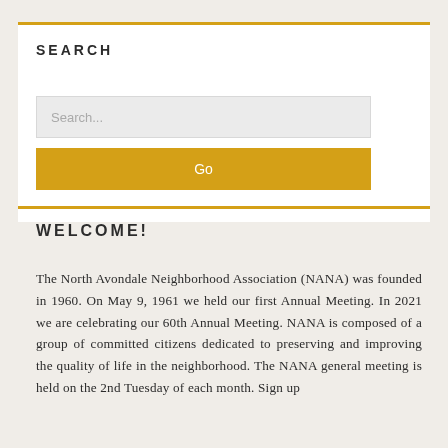SEARCH
Search...
Go
WELCOME!
The North Avondale Neighborhood Association (NANA) was founded in 1960. On May 9, 1961 we held our first Annual Meeting. In 2021 we are celebrating our 60th Annual Meeting. NANA is composed of a group of committed citizens dedicated to preserving and improving the quality of life in the neighborhood. The NANA general meeting is held on the 2nd Tuesday of each month. Sign up